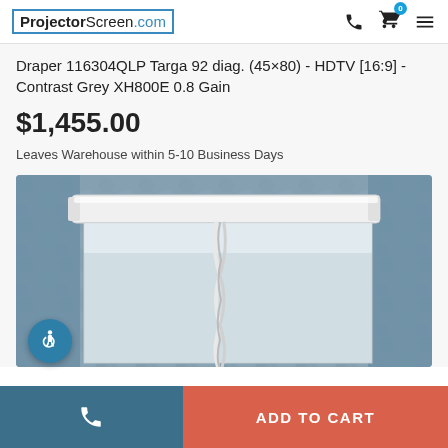ProjectorScreen.com
Draper 116304QLP Targa 92 diag. (45×80) - HDTV [16:9] - Contrast Grey XH800E 0.8 Gain
$1,455.00
Leaves Warehouse within 5-10 Business Days
[Figure (photo): Projector screen mounted on a textured blue-grey wall, showing the white housing at top and the screen slightly unrolled with a twisted cord hanging down.]
ADD TO CART